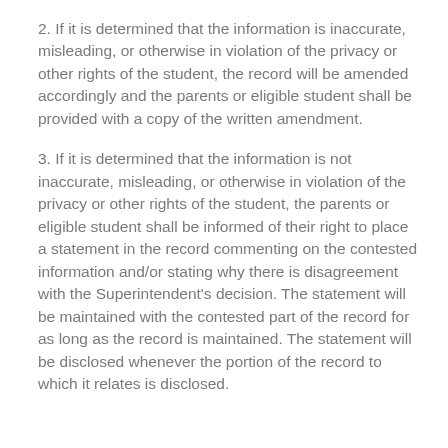2. If it is determined that the information is inaccurate, misleading, or otherwise in violation of the privacy or other rights of the student, the record will be amended accordingly and the parents or eligible student shall be provided with a copy of the written amendment.
3. If it is determined that the information is not inaccurate, misleading, or otherwise in violation of the privacy or other rights of the student, the parents or eligible student shall be informed of their right to place a statement in the record commenting on the contested information and/or stating why there is disagreement with the Superintendent's decision. The statement will be maintained with the contested part of the record for as long as the record is maintained. The statement will be disclosed whenever the portion of the record to which it relates is disclosed.